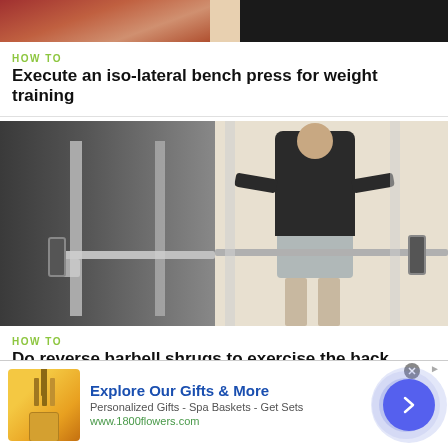[Figure (photo): Partial top image of gym/fitness activity, cropped]
HOW TO
Execute an iso-lateral bench press for weight training
[Figure (photo): Man standing facing away at a barbell rack in a gym, performing reverse barbell shrugs]
HOW TO
Do reverse barbell shrugs to exercise the back
[Figure (infographic): Advertisement banner: Explore Our Gifts & More - 1800flowers.com, with gift product image and navigation arrow button]